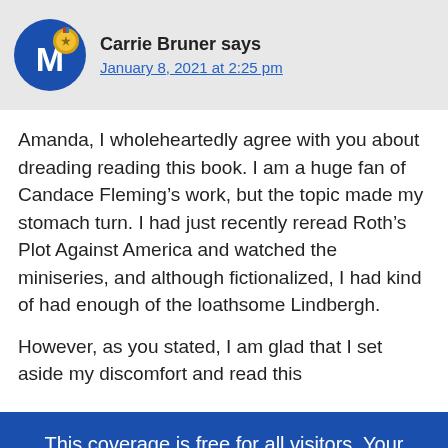Carrie Bruner says
January 8, 2021 at 2:25 pm
Amanda, I wholeheartedly agree with you about dreading reading this book. I am a huge fan of Candace Fleming’s work, but the topic made my stomach turn. I had just recently reread Roth’s Plot Against America and watched the miniseries, and although fictionalized, I had kind of had enough of the loathsome Lindbergh.
However, as you stated, I am glad that I set aside my discomfort and read this
This coverage is free for all visitors. Your support makes this possible.
SUBSCRIBE